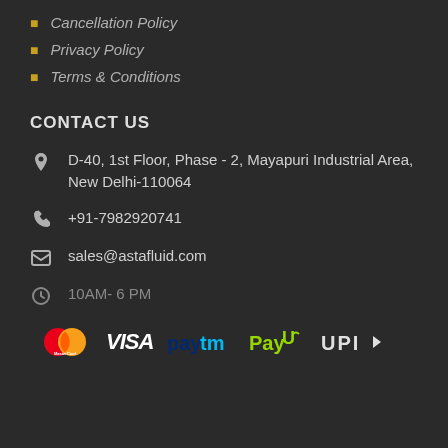Cancellation Policy
Privacy Policy
Terms & Conditions
CONTACT US
D-40, 1st Floor, Phase - 2, Mayapuri Industrial Area, New Delhi-110064
+91-7982920741
sales@astafluid.com
10AM- 6 PM
[Figure (logo): Payment method logos: MasterCard, VISA, Paytm, PayU, UPI]